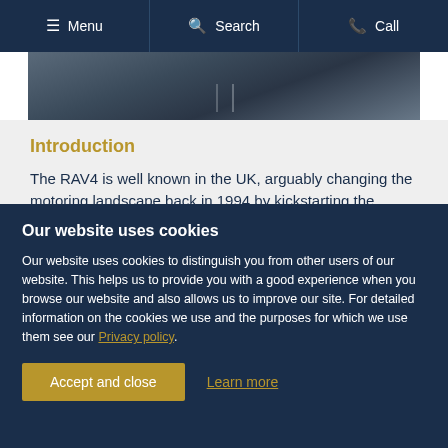Menu | Search | Call
[Figure (photo): Aerial/road photo strip showing dark asphalt road surface with lane markings]
Introduction
The RAV4 is well known in the UK, arguably changing the motoring landscape back in 1994 by kickstarting the switch from hatchbacks to SUVs. That early model promised we'd all go to the beach, do some surfing,
Our website uses cookies

Our website uses cookies to distinguish you from other users of our website. This helps us to provide you with a good experience when you browse our website and also allows us to improve our site. For detailed information on the cookies we use and the purposes for which we use them see our Privacy policy.

[Accept and close] [Learn more]